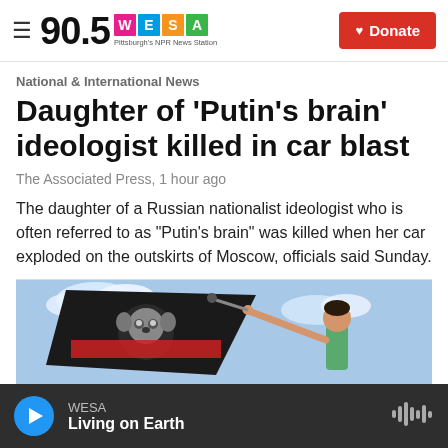90.5 WESA – Pittsburgh's NPR News Station | Donate
National & International News
Daughter of 'Putin's brain' ideologist killed in car blast
The Associated Press, 1 hour ago
The daughter of a Russian nationalist ideologist who is often referred to as "Putin's brain" was killed when her car exploded on the outskirts of Moscow, officials said Sunday.
[Figure (photo): Person waving a black flag with a cartoon emblem against a blue sky background]
WESA – Living on Earth